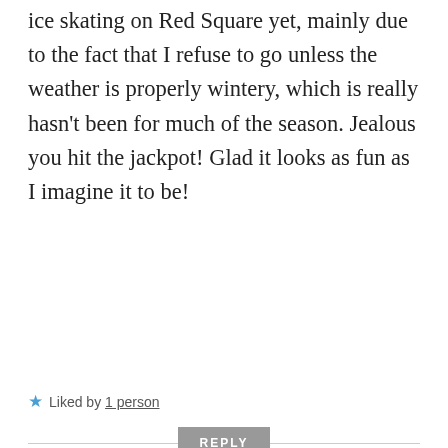ice skating on Red Square yet, mainly due to the fact that I refuse to go unless the weather is properly wintery, which is really hasn't been for much of the season. Jealous you hit the jackpot! Glad it looks as fun as I imagine it to be!
★ Liked by 1 person
REPLY
tinyexpats
FEBRUARY 27, 2016 AT 08:26
Thank you! I can't say there were heaps of snow, but it was snowing, so yes, I think it counts as a wintery weather :)) They seem to